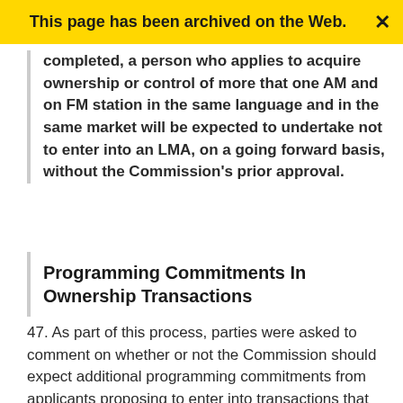This page has been archived on the Web.
completed, a person who applies to acquire ownership or control of more that one AM and on FM station in the same language and in the same market will be expected to undertake not to enter into an LMA, on a going forward basis, without the Commission's prior approval.
Programming Commitments In Ownership Transactions
47. As part of this process, parties were asked to comment on whether or not the Commission should expect additional programming commitments from applicants proposing to enter into transactions that